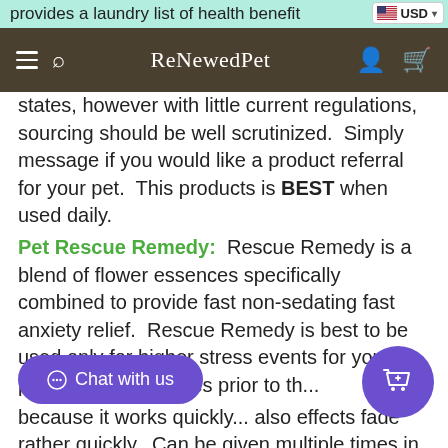provides a laundry list of health benefit
USD
ReNewedPet
states, however with little current regulations, sourcing should be well scrutinized.  Simply message if you would like a product referral for your pet.  This products is BEST when used daily.
Pet Rescue Remedy:  Rescue Remedy is a blend of flower essences specifically combined to provide fast non-sedating fast anxiety relief.  Rescue Remedy is best to be used only for higher stress events for your pets given 15 minutes prior to th... because it works quickly... also effects fade rather quickly.  Can be given multiple times in one day as needed.  Can be